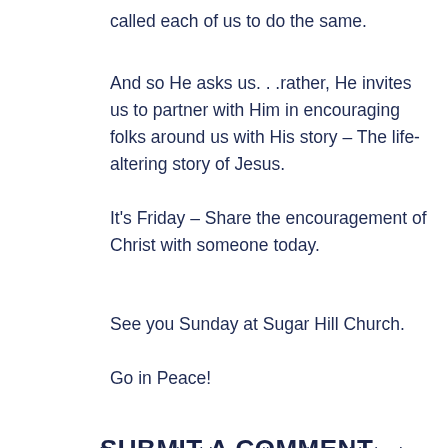called each of us to do the same.
And so He asks us…rather, He invites us to partner with Him in encouraging folks around us with His story – The life-altering story of Jesus.
It's Friday – Share the encouragement of Christ with someone today.
See you Sunday at Sugar Hill Church.
Go in Peace!
SUBMIT A COMMENT
Your email address will not be published. Required